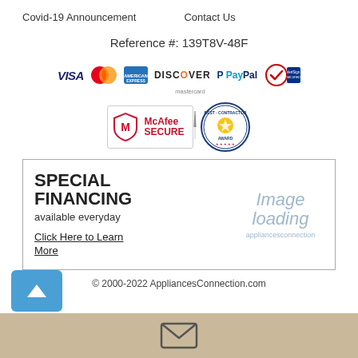Covid-19 Announcement    Contact Us
Reference #: 139T8V-48F
[Figure (other): Payment method logos: VISA, Mastercard, American Express, Discover, PayPal, VeriSign Secured]
[Figure (other): McAfee SECURE badge and Best Contractor Award badge]
SPECIAL FINANCING
available everyday

Click Here to Learn More
[Figure (other): Image loading placeholder with appliancesconnection brand text]
© 2000-2022 AppliancesConnection.com